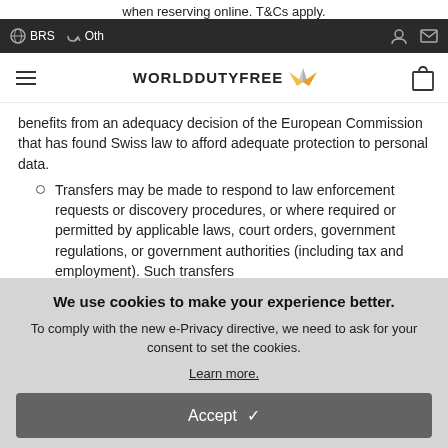when reserving online. T&Cs apply.
BRS  Oth
[Figure (logo): World Duty Free logo with text WORLDDUTYFREE and a stylized arrow/wing graphic]
benefits from an adequacy decision of the European Commission that has found Swiss law to afford adequate protection to personal data.
Transfers may be made to respond to law enforcement requests or discovery procedures, or where required or permitted by applicable laws, court orders, government regulations, or government authorities (including tax and employment). Such transfers
We use cookies to make your experience better.
To comply with the new e-Privacy directive, we need to ask for your consent to set the cookies.
Learn more.
Accept